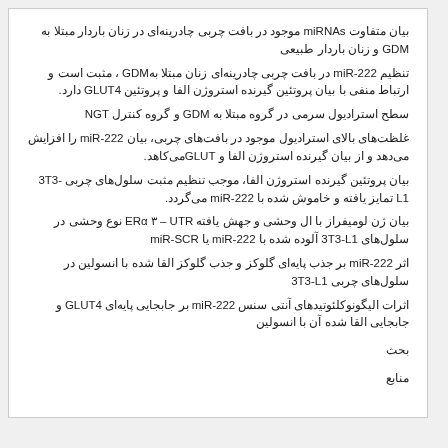بیان متفاوت miRNAs موجود در بافت چربی چادرینه‌ای در زنان باردار مبتلا به GDM و زنان باردار طبیعی
تنظیم miR-222 در بافت چربی چادرینه‌ای زنان مبتلا بهGDM ، مثبت است و ارتباط منفی با بیان پروتئین گیرنده استروژن الفا و پروتئین GLUT4 دارد.
سطح استرادیول سرمی در گروه مبتلا به GDM و گروه کنترل NGT
غلظت‌های بالای استرادیول موجود در بافت‌های چربی، بیان miR-222 را افزایش می‌دهد و از بیان گیرنده استروژن الفا و GLUTمی‌کاهد.
بیان پروتئین گیرنده استروژن الفا، موجب تنظیم مثبت سلول‌های چربی 3T3-L1 تمایز یافته و خاموش شده با miR-222 می‌گردد.
بیان ژن لومیفراز با ال وحشی و جهش یافته ERα ۳ – UTR نوع وحشی در سلول‌های 3T3-L1 آلوده شده با miR-222 یا miR-SCR
اثر miR-222 بر جذب پایه‌ای گلوکز و جذب گلوکز القا شده با انسولین در سلول‌های چربی 3T3-L1
اثرات الیگونوکلئوتیدهای آنتی سنس miR-222 بر جابجایی پایه‌ای GLUT4 و جابجایی القا شده آن با انسولین
بحث
منابع